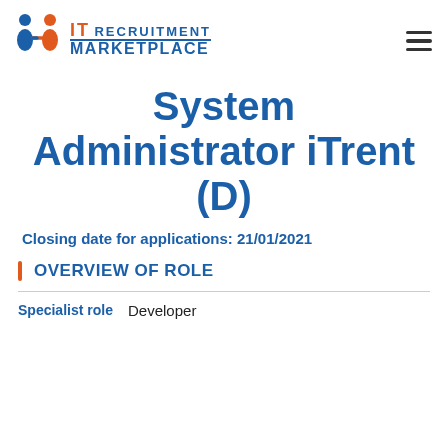[Figure (logo): IT Recruitment Marketplace logo with two figures shaking hands icon and text]
System Administrator iTrent (D)
Closing date for applications: 21/01/2021
OVERVIEW OF ROLE
| Specialist role |  |
| --- | --- |
| Specialist role | Developer |